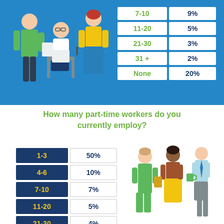[Figure (table-as-image): Top blue section with survey data table showing part-time worker ranges and percentages: 7-10: 9%, 11-20: 5%, 21-30: 3%, 31+: 2%, None: 20%]
How many part-time workers do you currently employ?
| Range | Percentage |
| --- | --- |
| 1-3 | 50% |
| 4-6 | 10% |
| 7-10 | 7% |
| 11-20 | 5% |
| 21-30 | 4% |
[Figure (illustration): Three illustrated people standing together — one in green dress, one dark-skinned in yellow, one in light blue shirt with tie holding a green mug]